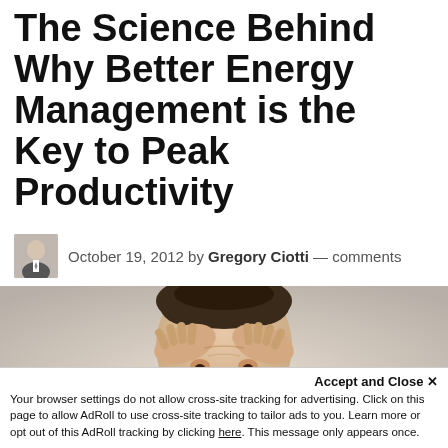The Science Behind Why Better Energy Management is the Key to Peak Productivity
October 19, 2012 by Gregory Ciotti — comments
[Figure (photo): A stressed man holding his head in his hands, looking directly at camera with hands pressed against forehead and temples, dark curly/messy hair, face partially obscured by hands.]
Accept and Close ✕
Your browser settings do not allow cross-site tracking for advertising. Click on this page to allow AdRoll to use cross-site tracking to tailor ads to you. Learn more or opt out of this AdRoll tracking by clicking here. This message only appears once.